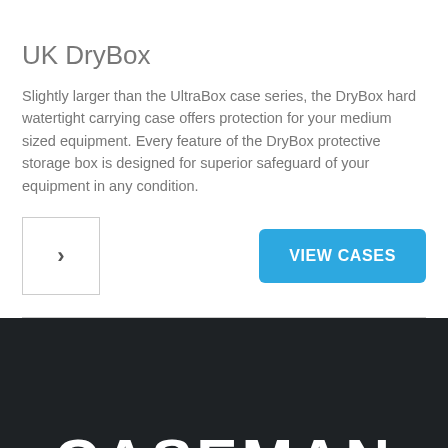UK DryBox
Slightly larger than the UltraBox case series, the DryBox hard watertight carrying case offers protection for your medium sized equipment. Every feature of the DryBox protective storage box is designed for superior safeguard of your equipment in any condition.
[Figure (other): Navigation arrow button (right chevron) and VIEW CASES button]
[Figure (logo): CASEMAN logo in white text on dark background]